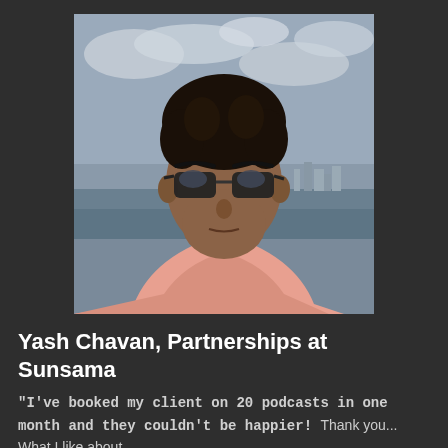[Figure (photo): Headshot photo of Yash Chavan wearing sunglasses and a pink shirt, with water and cloudy sky in the background.]
Yash Chavan, Partnerships at Sunsama
"I've booked my client on 20 podcasts in one month and they couldn't be happier! Thank you... What I like about..."